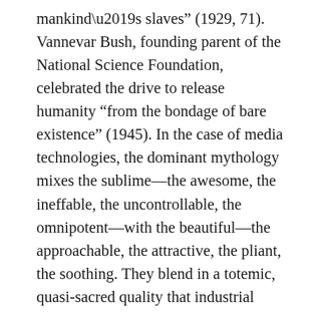mankind’s slaves” (1929, 71). Vannevar Bush, founding parent of the National Science Foundation, celebrated the drive to release humanity “from the bondage of bare existence” (1945). In the case of media technologies, the dominant mythology mixes the sublime—the awesome, the ineffable, the uncontrollable, the omnipotent—with the beautiful—the approachable, the attractive, the pliant, the soothing. They blend in a totemic, quasi-sacred quality that industrial societies ascribe to modern machinery, engineering, design, and marketing, as simultaneously powerful and pretty (Nye 1994).